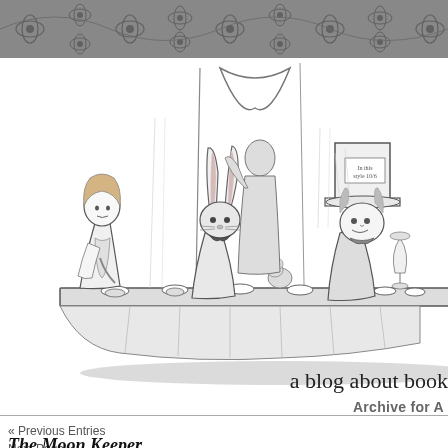[decorative floral banner header]
[Figure (illustration): Black and white Victorian engraving illustration of the Mad Hatter's tea party from Alice in Wonderland, showing Alice, the March Hare, the Mad Hatter and other characters seated at a long table with teacups.]
a blog about book
Archive for A
« Previous Entries
Next Page »
The Moon Keeper